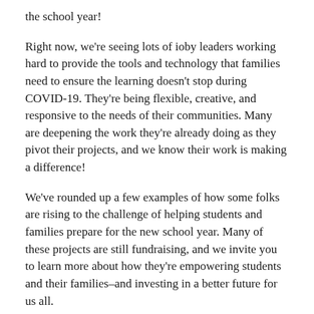the school year!
Right now, we're seeing lots of ioby leaders working hard to provide the tools and technology that families need to ensure the learning doesn't stop during COVID-19. They're being flexible, creative, and responsive to the needs of their communities. Many are deepening the work they're already doing as they pivot their projects, and we know their work is making a difference!
We've rounded up a few examples of how some folks are rising to the challenge of helping students and families prepare for the new school year. Many of these projects are still fundraising, and we invite you to learn more about how they're empowering students and their families–and investing in a better future for us all.
Back to school project idea